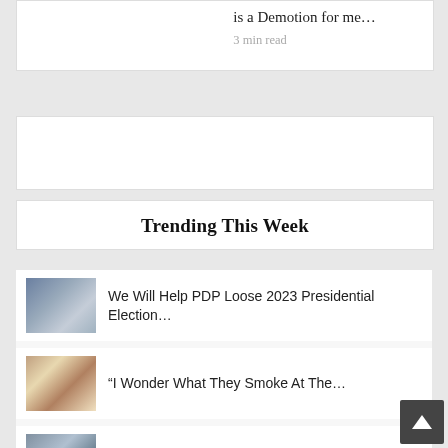is a Demotion for me…
3 min read
Trending This Week
[Figure (photo): Person at political rally with flag]
We Will Help PDP Loose 2023 Presidential Election…
[Figure (photo): Man in white shirt speaking at podium with microphones]
“I Wonder What They Smoke At The…
[Figure (photo): Person at political rally with flag]
Wike: APC Will Loose 2023 Elections